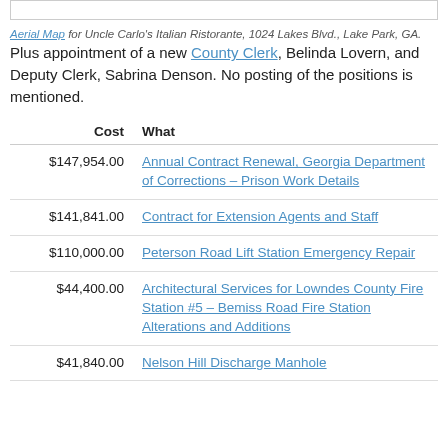Aerial Map for Uncle Carlo's Italian Ristorante, 1024 Lakes Blvd., Lake Park, GA.
Plus appointment of a new County Clerk, Belinda Lovern, and Deputy Clerk, Sabrina Denson. No posting of the positions is mentioned.
| Cost | What |
| --- | --- |
| $147,954.00 | Annual Contract Renewal, Georgia Department of Corrections – Prison Work Details |
| $141,841.00 | Contract for Extension Agents and Staff |
| $110,000.00 | Peterson Road Lift Station Emergency Repair |
| $44,400.00 | Architectural Services for Lowndes County Fire Station #5 – Bemiss Road Fire Station Alterations and Additions |
| $41,840.00 | Nelson Hill Discharge Manhole |